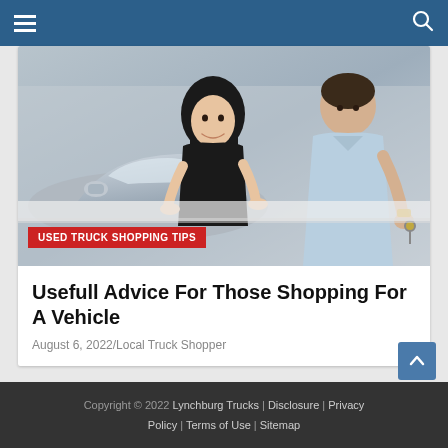Navigation bar with hamburger menu and search icon
[Figure (photo): A smiling woman in a black top leaning on a car at a dealership, with a man in a light blue shirt holding keys in the foreground, car dealership interior setting]
USED TRUCK SHOPPING TIPS
Usefull Advice For Those Shopping For A Vehicle
August 6, 2022/Local Truck Shopper
Copyright © 2022 Lynchburg Trucks | Disclosure | Privacy Policy | Terms of Use | Sitemap